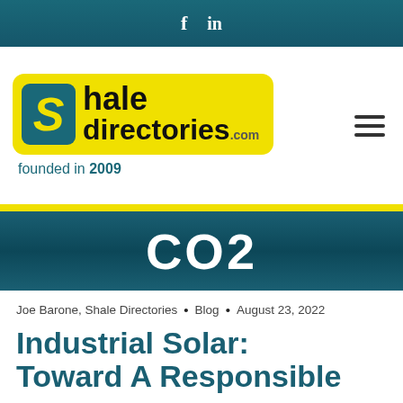f  in
[Figure (logo): Shale Directories logo: yellow rounded rectangle with S icon and text 'shale directories.com', founded in 2009]
[Figure (other): CO2 text banner on dark teal gradient background]
Joe Barone, Shale Directories • Blog • August 23, 2022
Industrial Solar: Toward A Responsible